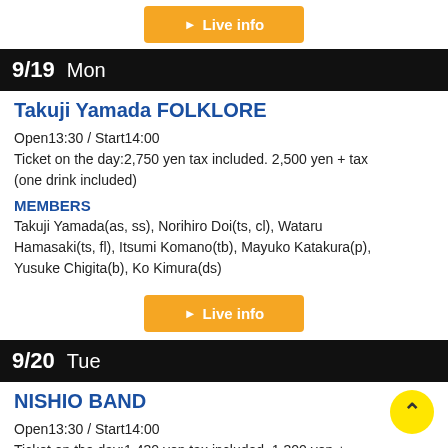[Figure (other): Live info button (orange/yellow background, white play arrow and text 'Live info')]
9/19  Mon
Takuji Yamada FOLKLORE
Open13:30 / Start14:00
Ticket on the day:2,750 yen tax included. 2,500 yen + tax (one drink included)
MEMBERS
Takuji Yamada(as, ss), Norihiro Doi(ts, cl), Wataru Hamasaki(ts, fl), Itsumi Komano(tb), Mayuko Katakura(p), Yusuke Chigita(b), Ko Kimura(ds)
[Figure (other): Live info button (orange/yellow background, white play arrow and text 'Live info')]
9/20  Tue
NISHIO BAND
Open13:30 / Start14:00
Ticket on the day:1,430 yen tax included. 1,300 yen + (one drink included)